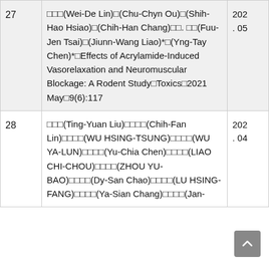| No. | Content | Year |
| --- | --- | --- |
| 27 | 䘪ᩕ㣌(Wei-De Lin)㓨(Chu-Chyn Ou)㋃(Shih-Hao Hsiao)㓨(Chih-Han Chang)㊬㊵(Fuu-Jen Tsai)㓨(Jiunn-Wang Liao)*㋃(Yng-Tay Chen)*㓨Effects of Acrylamide-Induced Vasorelaxation and Neuromuscular Blockage: A Rodent Study㓨Toxics㓨2021 May㓨9(6):117 | 202
. 05 |
| 28 | ㊵㊵㊵(Ting-Yuan Liu)㊵㊵㊵㊵(Chih-Fan Lin)㓨㊵㊵㊵(WU HSING-TSUNG)㊵㊵㊵㊵(WU YA-LUN)㊵㊵㊵㊵(Yu-Chia Chen)㊵㊵㊵㊵(LIAO CHI-CHOU)㊵㊵㊵㊵(ZHOU YU-BAO)㊵㊵㊵㊵(Dy-San Chao)㊵㊵㊵㊵(LU HSING-FANG)㊵㊵㊵㊵(Ya-Sian Chang)㊵㊵㊵㊵(Jan- | 202
. 04 |